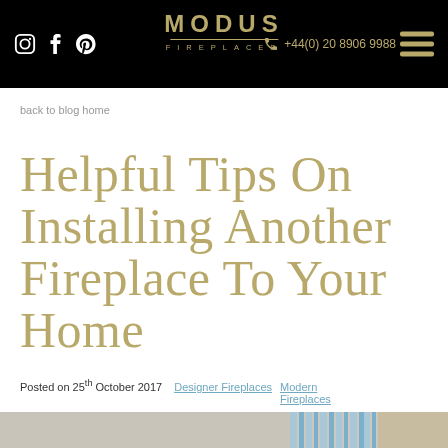MODUS FIREPLACES | +44(0) 20 8906 9988
back to blog home
Helpful Tips On Installing Another Fireplace To Your Home
Posted on 25th October 2017   Designer Fireplaces   Modern Fireplaces
[Figure (photo): Partial view of a fireplace or interior image at the bottom of the page]